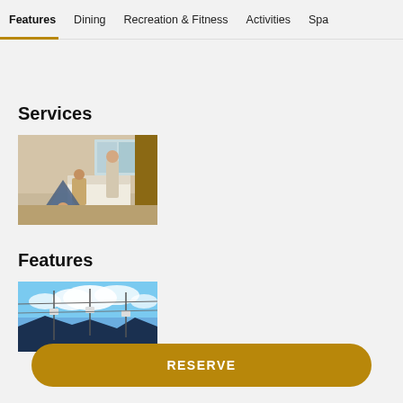Features | Dining | Recreation & Fitness | Activities | Spa
Services
[Figure (photo): A family scene in a hotel room with a child in a tent, a woman seated, and a man standing near a bed]
Features
[Figure (photo): Exterior view with blue sky, white clouds, and decorative elements or structures]